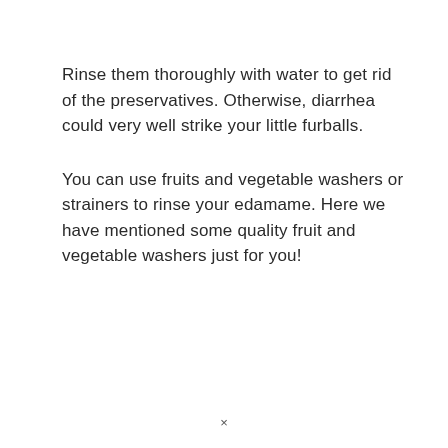Rinse them thoroughly with water to get rid of the preservatives. Otherwise, diarrhea could very well strike your little furballs.
You can use fruits and vegetable washers or strainers to rinse your edamame. Here we have mentioned some quality fruit and vegetable washers just for you!
×